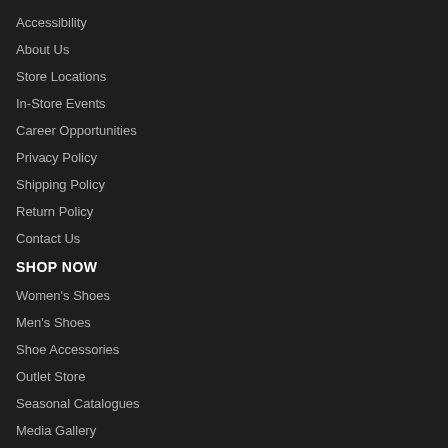Accessibility
About Us
Store Locations
In-Store Events
Career Opportunities
Privacy Policy
Shipping Policy
Return Policy
Contact Us
SHOP NOW
Women's Shoes
Men's Shoes
Shoe Accessories
Outlet Store
Seasonal Catalogues
Media Gallery
Blog